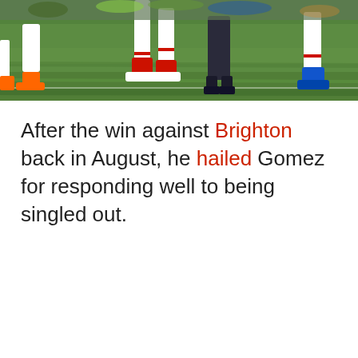[Figure (photo): Photo of football players' legs and feet on a grass pitch, showing white socks and football boots. A person in dark trousers is also visible. The grass is bright green.]
After the win against Brighton back in August, he hailed Gomez for responding well to being singled out.